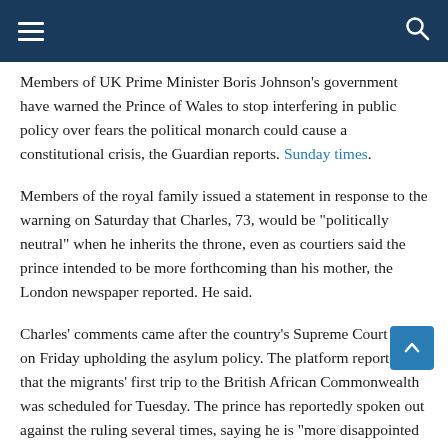Navigation header with hamburger menu and search icon
Members of UK Prime Minister Boris Johnson's government have warned the Prince of Wales to stop interfering in public policy over fears the political monarch could cause a constitutional crisis, the Guardian reports. Sunday times.
Members of the royal family issued a statement in response to the warning on Saturday that Charles, 73, would be "politically neutral" when he inherits the throne, even as courtiers said the prince intended to be more forthcoming than his mother, the London newspaper reported. He said.
Charles' comments came after the country's Supreme Court ruled on Friday upholding the asylum policy. The platform reported that the migrants' first trip to the British African Commonwealth was scheduled for Tuesday. The prince has reportedly spoken out against the ruling several times, saying he is "more disappointed than that".
The split between Downing Street and Clarence Bliss was said to arose from Johnson's "disrespectful" behavior towards